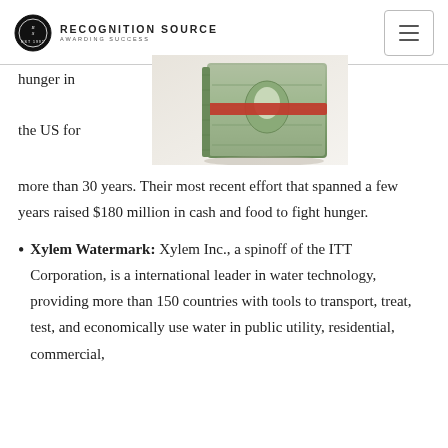RECOGNITION SOURCE AWARDING SUCCESS
[Figure (photo): Stack of US dollar bills bundled with a red rubber band, standing upright on a light background]
hunger in the US for more than 30 years. Their most recent effort that spanned a few years raised $180 million in cash and food to fight hunger.
Xylem Watermark: Xylem Inc., a spinoff of the ITT Corporation, is a international leader in water technology, providing more than 150 countries with tools to transport, treat, test, and economically use water in public utility, residential, commercial,